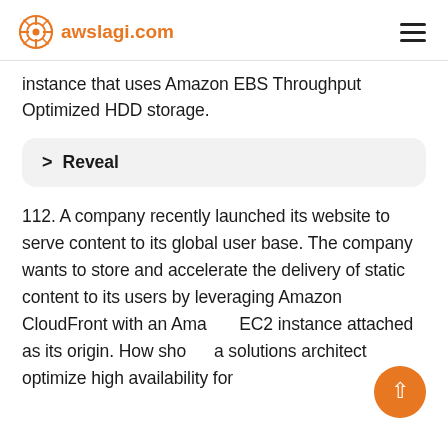awslagi.com
instance that uses Amazon EBS Throughput Optimized HDD storage.
> Reveal
112. A company recently launched its website to serve content to its global user base. The company wants to store and accelerate the delivery of static content to its users by leveraging Amazon CloudFront with an Amazon EC2 instance attached as its origin. How should a solutions architect optimize high availability for